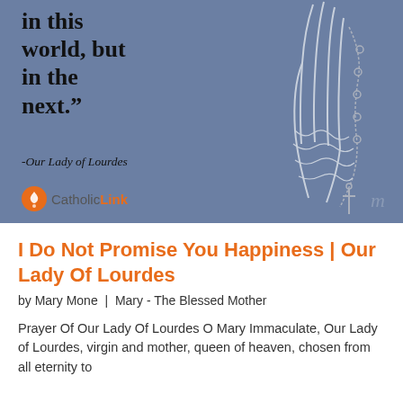[Figure (illustration): Blue-grey background image with a large bold quote 'in this world, but in the next.' attributed to Our Lady of Lourdes, with a line drawing of hands holding a rosary on the right side. CatholicLink logo in lower left and stylized 'm' watermark in lower right.]
I Do Not Promise You Happiness | Our Lady Of Lourdes
by Mary Mone | Mary - The Blessed Mother
Prayer Of Our Lady Of Lourdes O Mary Immaculate, Our Lady of Lourdes, virgin and mother, queen of heaven, chosen from all eternity to